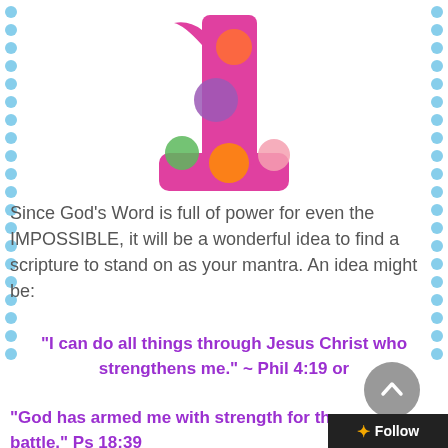[Figure (photo): A pink polka-dot number '1' balloon/figure with colorful dots (orange, purple, green, peach) on a white background]
Since God's Word is full of power for even the IMPOSSIBLE, it will be a wonderful idea to find a scripture to stand on as your mantra. An idea might be:
“I can do all things through Jesus Christ who strengthens me.”  ~ Phil 4:19 or
“God has armed me with strength for the battle.” Ps 18:39